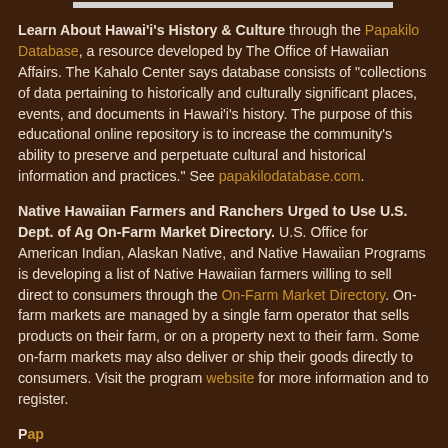Learn About Hawai'i's History & Culture through the Papakilo Database, a resource developed by The Office of Hawaiian Affairs. The Kahalo Center says database consists of "collections of data pertaining to historically and culturally significant places, events, and documents in Hawai'i's history. The purpose of this educational online repository is to increase the community's ability to preserve and perpetuate cultural and historical information and practices." See papakilodatabase.com.
Native Hawaiian Farmers and Ranchers Urged to Use U.S. Dept. of Ag On-Farm Market Directory. U.S. Office for American Indian, Alaskan Native, and Native Hawaiian Programs is developing a list of Native Hawaiian farmers willing to sell direct to consumers through the On-Farm Market Directory. On-farm markets are managed by a single farm operator that sells products on their farm, or on a property next to their farm. Some on-farm markets may also deliver or ship their goods directly to consumers. Visit the program website for more information and to register.
Papakilo Database...